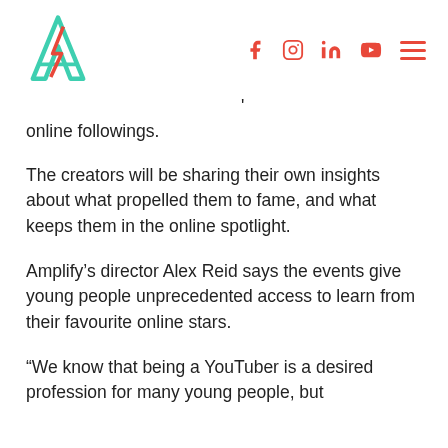Amplify logo and social media icons (Facebook, Instagram, LinkedIn, YouTube, hamburger menu)
' online followings.
The creators will be sharing their own insights about what propelled them to fame, and what keeps them in the online spotlight.
Amplify's director Alex Reid says the events give young people unprecedented access to learn from their favourite online stars.
“We know that being a YouTuber is a desired profession for many young people, but